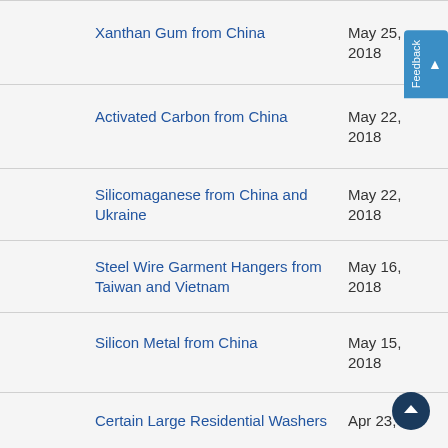Xanthan Gum from China
Activated Carbon from China
Silicomaganese from China and Ukraine
Steel Wire Garment Hangers from Taiwan and Vietnam
Silicon Metal from China
Certain Large Residential Washers